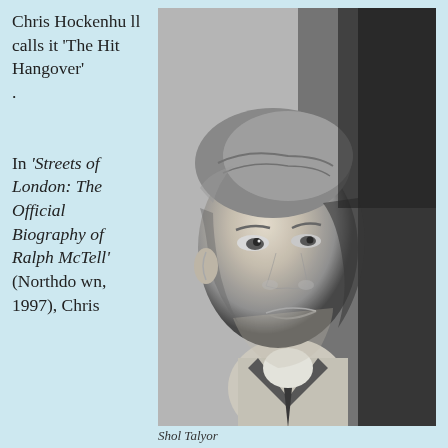Chris Hockenhull calls it 'The Hit Hangover'.

In 'Streets of London: The Official Biography of Ralph McTell' (Northdown, 1997), Chris
[Figure (photo): Black and white portrait photograph of a young man with short hair wearing a suit and tie, photographed in a serious pose with dramatic lighting on his face.]
Shol Talyor